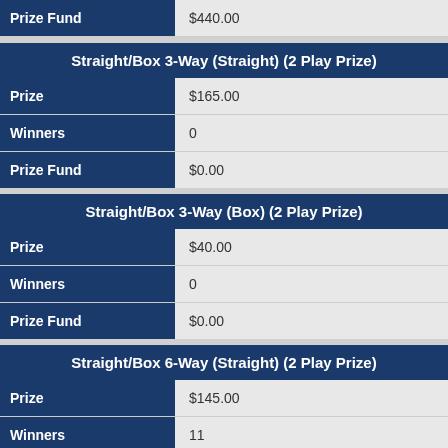| Prize Fund | $440.00 |
| --- | --- |
Straight/Box 3-Way (Straight) (2 Play Prize)
| Prize | $165.00 |
| Winners | 0 |
| Prize Fund | $0.00 |
Straight/Box 3-Way (Box) (2 Play Prize)
| Prize | $40.00 |
| Winners | 0 |
| Prize Fund | $0.00 |
Straight/Box 6-Way (Straight) (2 Play Prize)
| Prize | $145.00 |
| Winners | 11 |
| Prize Fund | $1,595.00 |
Straight/Box 6-Way (Box) (2 Play Prize)